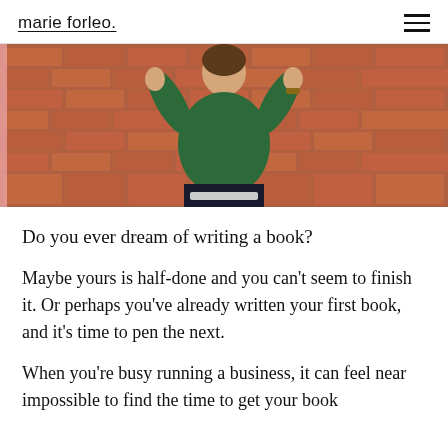marie forleo.
[Figure (photo): A woman wearing a green top sitting in front of a red brick wall, with arms raised, photographed from mid-torso up.]
Do you ever dream of writing a book?
Maybe yours is half-done and you can’t seem to finish it. Or perhaps you’ve already written your first book, and it’s time to pen the next.
When you’re busy running a business, it can feel near impossible to find the time to get your book